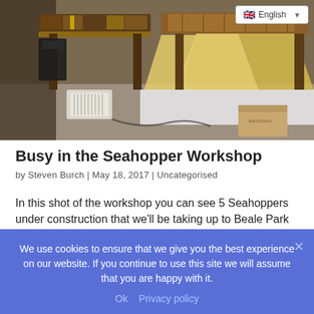[Figure (photo): Workshop photo showing Seahopper boats under construction on wooden trestle tables, with timber planks, yellow material/fabric covers on hulls, a white electric heater on the floor, and a cardboard box in the background.]
Busy in the Seahopper Workshop
by Steven Burch  |  May 18, 2017  |  Uncategorised
In this shot of the workshop you can see 5 Seahoppers under construction that we'll be taking up to Beale Park for the show
We use cookies to ensure that we give you the best experience on our website. If you continue to use this site we will assume that you are happy with it.
Ok   Privacy policy